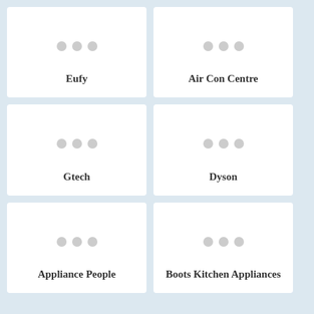[Figure (other): Card placeholder with three grey dots representing Eufy brand]
Eufy
[Figure (other): Card placeholder with three grey dots representing Air Con Centre brand]
Air Con Centre
[Figure (other): Card placeholder with three grey dots representing Gtech brand]
Gtech
[Figure (other): Card placeholder with three grey dots representing Dyson brand]
Dyson
[Figure (other): Card placeholder with three grey dots representing Appliance People brand]
Appliance People
[Figure (other): Card placeholder with three grey dots representing Boots Kitchen Appliances brand]
Boots Kitchen Appliances